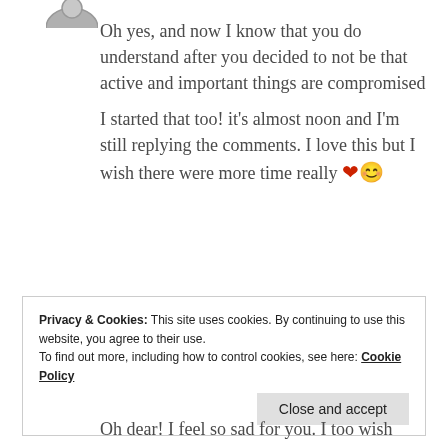Oh yes, and now I know that you do understand after you decided to not be that active and important things are compromised
I started that too! it’s almost noon and I’m still replying the comments. I love this but I wish there were more time really ❤️😊
Liked by 1 person
Privacy & Cookies: This site uses cookies. By continuing to use this website, you agree to their use.
To find out more, including how to control cookies, see here: Cookie Policy
Close and accept
Oh dear! I feel so sad for you. I too wish there